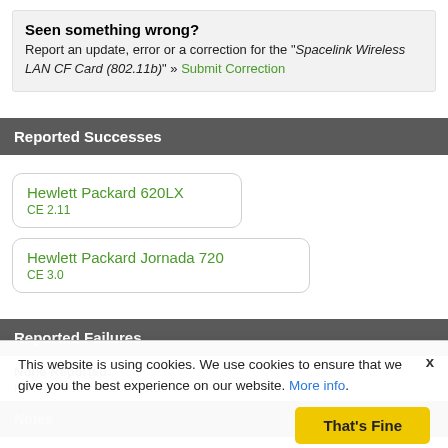Seen something wrong? Report an update, error or a correction for the "Spacelink Wireless LAN CF Card (802.11b)" » Submit Correction
Reported Successes
Hewlett Packard 620LX
CE 2.11
Hewlett Packard Jornada 720
CE 3.0
Reported Failures
None Reported:
Please help by submitting a report.
Notes
This website is using cookies. We use cookies to ensure that we give you the best experience on our website. More info.